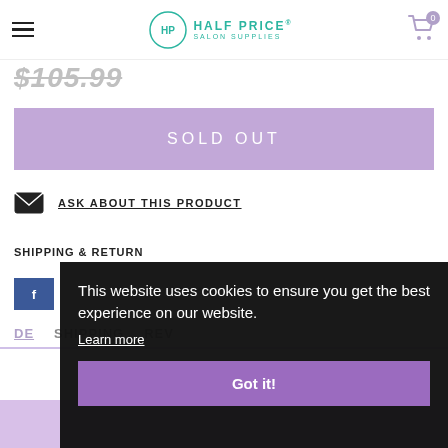Half Price Salon Supplies — navigation header with hamburger menu and cart (0 items)
$105.99 (strikethrough price)
SOLD OUT
ASK ABOUT THIS PRODUCT
SHIPPING & RETURN
This website uses cookies to ensure you get the best experience on our website. Learn more
Got it!